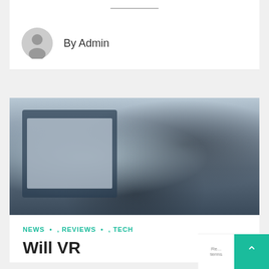By Admin
[Figure (photo): Person wearing a VR headset in front of a computer monitor, blurred background]
NEWS • , REVIEWS • , TECH
Will VR